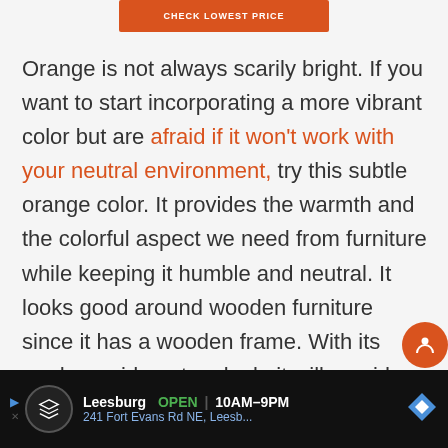[Figure (other): Orange button labeled CHECK LOWEST PRICE]
Orange is not always scarily bright. If you want to start incorporating a more vibrant color but are afraid if it won't work with your neutral environment, try this subtle orange color. It provides the warmth and the colorful aspect we need from furniture while keeping it humble and neutral. It looks good around wooden furniture since it has a wooden frame. With its modern mid-century look, it will provide a cozy corner in your bedroom.
[Figure (other): Advertisement bar at bottom: Leesburg OPEN 10AM-9PM, 241 Fort Evans Rd NE, Leesb...]